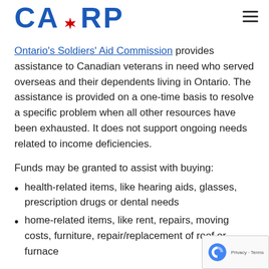CARP
Ontario's Soldiers' Aid Commission provides assistance to Canadian veterans in need who served overseas and their dependents living in Ontario. The assistance is provided on a one-time basis to resolve a specific problem when all other resources have been exhausted. It does not support ongoing needs related to income deficiencies.
Funds may be granted to assist with buying:
health-related items, like hearing aids, glasses, prescription drugs or dental needs
home-related items, like rent, repairs, moving costs, furniture, repair/replacement of roof or furnace